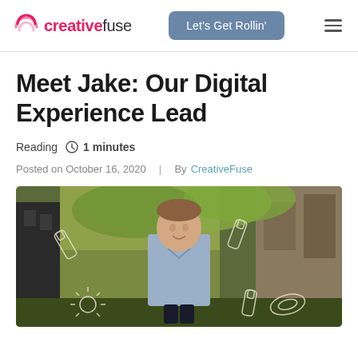creativefuse | Let's Get Rollin'
Meet Jake: Our Digital Experience Lead
Reading 1 minutes
Posted on October 16, 2020 | By CreativeFuse
[Figure (photo): Professional photo of Jake, a young man in a light blue button-up shirt, smiling outdoors in front of green foliage. Illustrated graphic elements (paint tubes, light bulb rays) are overlaid on the photo.]